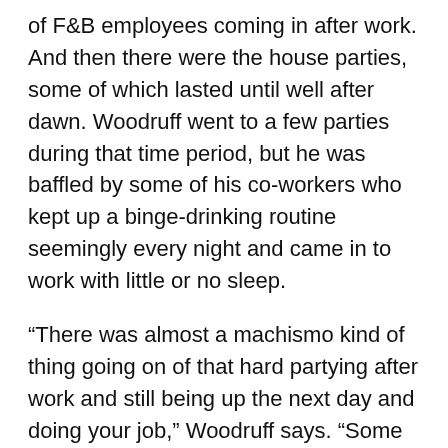of F&B employees coming in after work. And then there were the house parties, some of which lasted until well after dawn. Woodruff went to a few parties during that time period, but he was baffled by some of his co-workers who kept up a binge-drinking routine seemingly every night and came in to work with little or no sleep.
“There was almost a machismo kind of thing going on of that hard partying after work and still being up the next day and doing your job,” Woodruff says. “Some of the people, I’m wondering literally, ‘How in the world do you do that?’”
The idea that social interactions in the restaurant industry can foster heavy drinking has been the